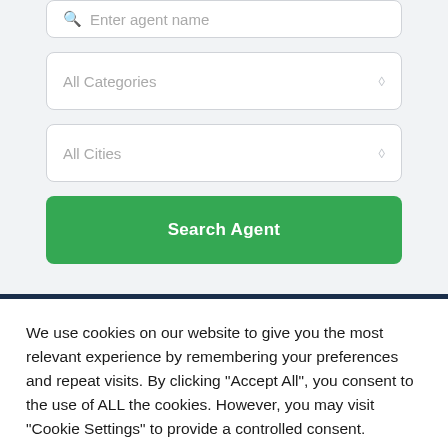[Figure (screenshot): Partially visible search input box with placeholder text 'Enter agent name' and search icon at top of page]
[Figure (screenshot): Dropdown select box with placeholder 'All Categories' and diamond/chevron icon]
[Figure (screenshot): Dropdown select box with placeholder 'All Cities' and diamond/chevron icon]
[Figure (screenshot): Green 'Search Agent' button]
We use cookies on our website to give you the most relevant experience by remembering your preferences and repeat visits. By clicking "Accept All", you consent to the use of ALL the cookies. However, you may visit "Cookie Settings" to provide a controlled consent.
[Figure (screenshot): Red 'Accept All' button and 'Cookie Settings' underlined link]